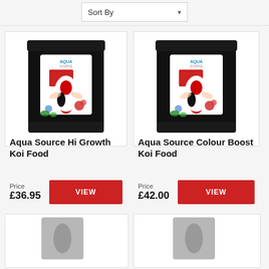Sort By
[Figure (photo): Black bag of Aqua Source Hi Growth Koi Food with koi fish imagery on front label]
Aqua Source Hi Growth Koi Food
Price £36.95
[Figure (photo): Black bag of Aqua Source Colour Boost Koi Food with koi fish imagery on front label]
Aqua Source Colour Boost Koi Food
Price £42.00